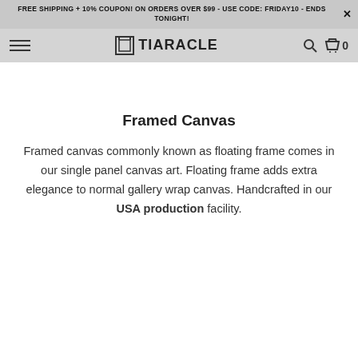FREE SHIPPING + 10% COUPON! ON ORDERS OVER $99 - USE CODE: FRIDAY10 - ENDS TONIGHT!
[Figure (logo): Tiaracle logo with hamburger menu, search icon, and cart icon in navigation bar]
Framed Canvas
Framed canvas commonly known as floating frame comes in our single panel canvas art. Floating frame adds extra elegance to normal gallery wrap canvas. Handcrafted in our USA production facility.